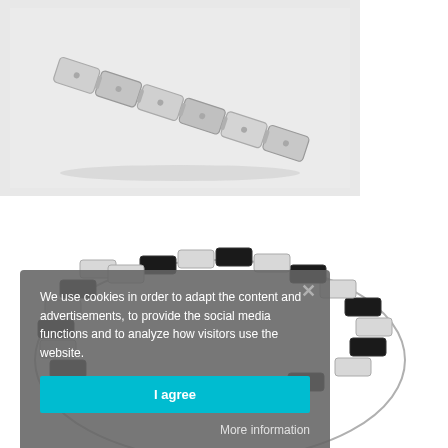[Figure (photo): Partial view of a metallic bracelet/watch band product on white background, showing link-style metal construction]
[Figure (photo): Tungsten carbide bracelet with alternating silver and black links, shown on white background with a red 'TUNGSTEN CARBIDE' badge label in upper right]
We use cookies in order to adapt the content and advertisements, to provide the social media functions and to analyze how visitors use the website.
I agree
More information